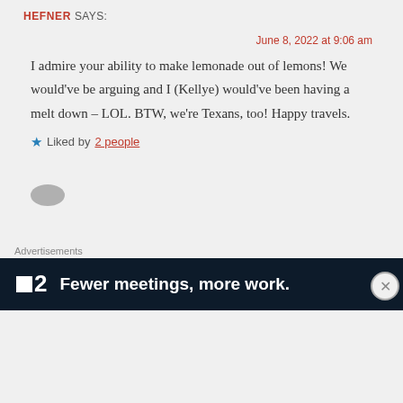HEFNER SAYS:
June 8, 2022 at 9:06 am
I admire your ability to make lemonade out of lemons! We would've be arguing and I (Kellye) would've been having a melt down – LOL. BTW, we're Texans, too! Happy travels.
★ Liked by 2 people
[Figure (photo): Avatar/profile image placeholder for second comment]
Advertisements
[Figure (other): Advertisement banner: logo '2' with text 'Fewer meetings, more work.' on dark background]